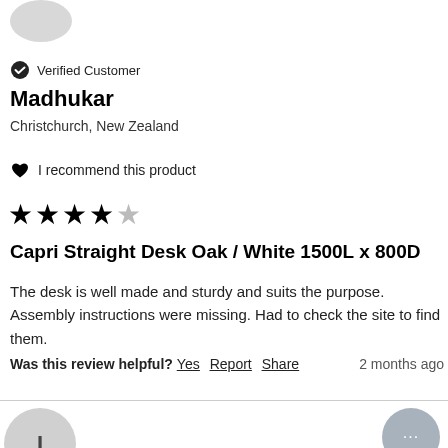[Figure (illustration): Partial avatar circle at top left, cropped]
Verified Customer
Madhukar
Christchurch, New Zealand
I recommend this product
[Figure (illustration): 4 out of 5 stars rating]
Capri Straight Desk Oak / White 1500L x 800D
The desk is well made and sturdy and suits the purpose. Assembly instructions were missing. Had to check the site to find them.
Was this review helpful? Yes Report Share
2 months ago